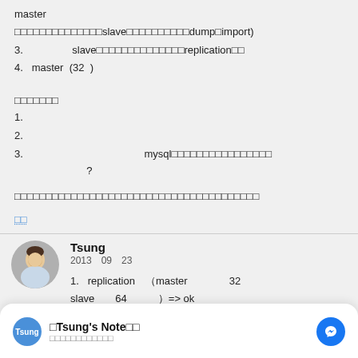master
□□□□□□□□□□□□□□□slave□□□□□□□□□□□dump□import)
3.    slave□□□□□□□□□□□□□□□replication□□
4.   master  (32  )
□□□□□□□
1.    ?
2.    ?
3.    mysql□□□□□□□□□□□□□□□□ ?
□□□□□□□□□□□□□□□□□□□□□□□□□□□□□□□□□□□□□□□
□□ (link)
Tsung 2013 09 23
1.   replication  ( master  32  slave  64  ) => ok
□Tsung's Note□□
□□□□□□□□□□□□
data dump + import,   import  ,
replication